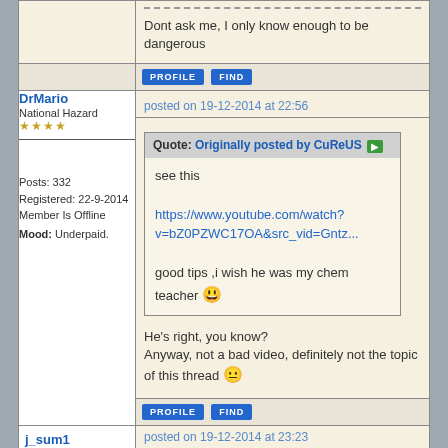Dont ask me, I only know enough to be dangerous
[Figure (screenshot): Profile and Find buttons row]
DrMario
National Hazard
★★★★
Posts: 332
Registered: 22-9-2014
Member Is Offline
Mood: Underpaid.
posted on 19-12-2014 at 22:56
Quote: Originally posted by CuReUS
see this
https://www.youtube.com/watch?v=bZ0PZWC17OA&src_vid=Gntz...
good tips ,i wish he was my chem teacher
He's right, you know?
Anyway, not a bad video, definitely not the topic of this thread
[Figure (screenshot): Profile and Find buttons row]
j_sum1
posted on 19-12-2014 at 23:23